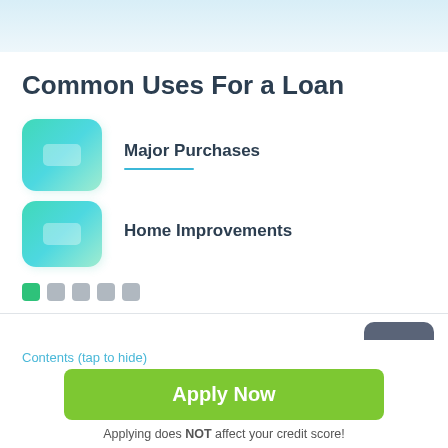Common Uses For a Loan
Major Purchases
Home Improvements
Apply Now
Applying does NOT affect your credit score!
No credit check to apply.
Contents (tap to hide)
1  The way online installment loans Hummels